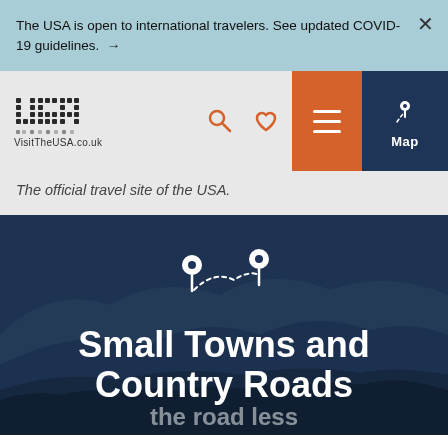The USA is open to international travelers. See updated COVID-19 guidelines. →
VisitTheUSA.co.uk — The official travel site of the USA.
The official travel site of the USA.
[Figure (screenshot): Hero section with mountain landscape background, two location pin icons connected by dotted route, title text 'Small Towns and Country Roads']
Small Towns and Country Roads